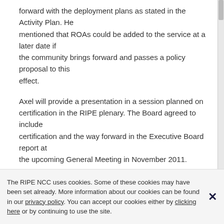forward with the deployment plans as stated in the Activity Plan. He mentioned that ROAs could be added to the service at a later date if the community brings forward and passes a policy proposal to this effect.
Axel will provide a presentation in a session planned on certification in the RIPE plenary. The Board agreed to include certification and the way forward in the Executive Board report at the upcoming General Meeting in November 2011.
The RIPE NCC uses cookies. Some of these cookies may have been set already. More information about our cookies can be found in our privacy policy. You can accept our cookies either by clicking here or by continuing to use the site.